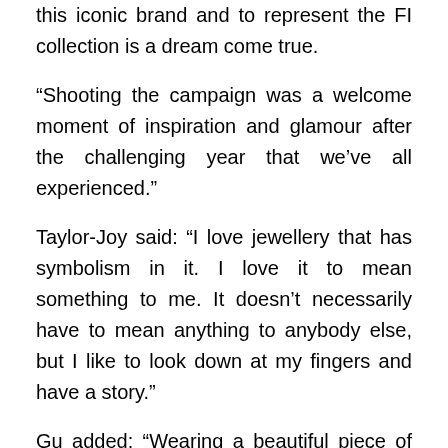this iconic brand and to represent the FI collection is a dream come true.
“Shooting the campaign was a welcome moment of inspiration and glamour after the challenging year that we’ve all experienced.”
Taylor-Joy said: “I love jewellery that has symbolism in it. I love it to mean something to me. It doesn’t necessarily have to mean anything to anybody else, but I like to look down at my fingers and have a story.”
Gu added: “Wearing a beautiful piece of jewellery, especially one that is meaningful or motivational in a personal sense, is an inexorable feeling — it’s empowering, inspiring and exciting to express myself, to feel seen and heard without